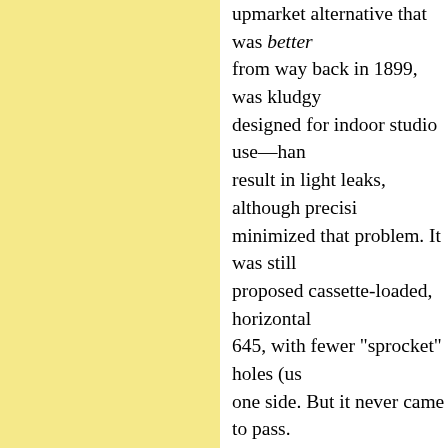upmarket alternative that was better from way back in 1899, was kludgy designed for indoor studio use—han result in light leaks, although precisi minimized that problem. It was still proposed cassette-loaded, horizontal 645, with fewer "sprocket" holes (us one side. But it never came to pass.
APS ended up doomed by two thing mainly, and didn't offer consumers e rather, its advantages weren't intuitiv and second, of course, digital was or
When digital began to be viable in th many others, that we had finally met reign of 35mm film. Which of cours
...But what it didn't do, obviously, w standard size of recording substrate! difficult and expensive to manufactu